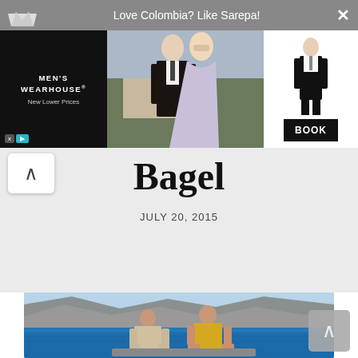Love Colombia? Like Sarepa!
[Figure (photo): Men's Wearhouse advertisement banner showing a couple (man in dark suit, woman in evening dress) and a man in a tuxedo with BOOK button]
Bagel
JULY 20, 2015
[Figure (photo): Two people on a boat with mountains and blue water in the background]